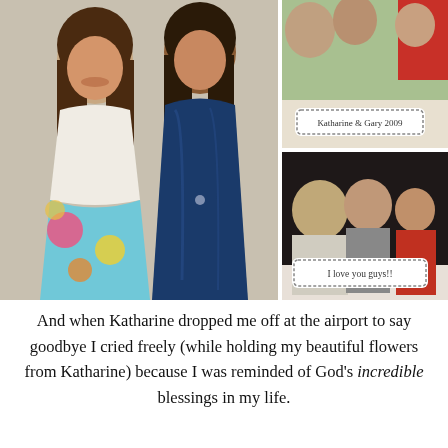[Figure (photo): Photo collage of three photos: left photo shows two young women in formal dresses (one white, one navy blue satin), top-right photo shows a group including a label 'Katharine & Gary 2009', bottom-right photo shows three young people with a label 'I love you guys!']
And when Katharine dropped me off at the airport to say goodbye I cried freely (while holding my beautiful flowers from Katharine) because I was reminded of God's incredible blessings in my life.